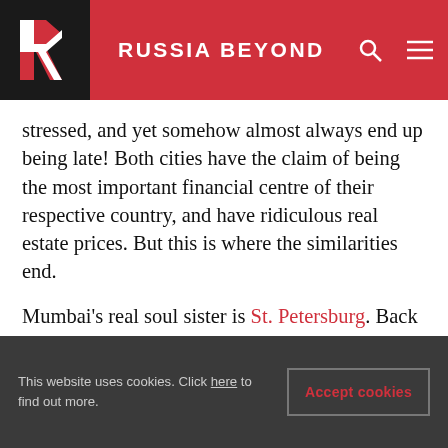RUSSIA BEYOND
stressed, and yet somehow almost always end up being late! Both cities have the claim of being the most important financial centre of their respective country, and have ridiculous real estate prices. But this is where the similarities end.
Mumbai’s real soul sister is St. Petersburg. Back in 1967, Leningrad and Bombay officially became sister cities. Far away from the real source of political power, both cities have one foot deeply set in the West. Both cities have traditionally been at the forefront of the liberal movement.
This website uses cookies. Click here to find out more. Accept cookies